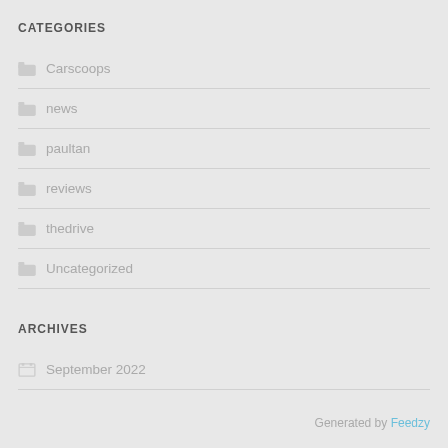CATEGORIES
Carscoops
news
paultan
reviews
thedrive
Uncategorized
ARCHIVES
September 2022
Generated by Feedzy